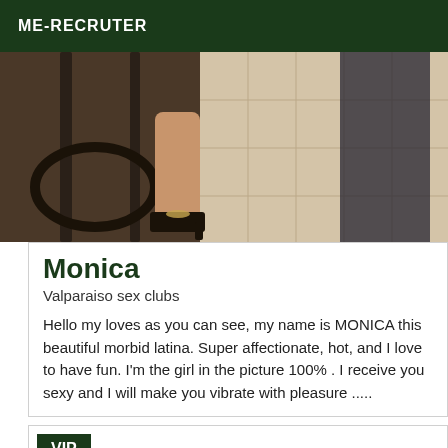ME-RECRUTER
[Figure (photo): Photo of a person's legs and lower body near a metal railing, wearing black heels, with tile floor in background]
Monica
Valparaiso sex clubs
Hello my loves as you can see, my name is MONICA this beautiful morbid latina. Super affectionate, hot, and I love to have fun. I'm the girl in the picture 100% . I receive you sexy and I will make you vibrate with pleasure .....
VIP